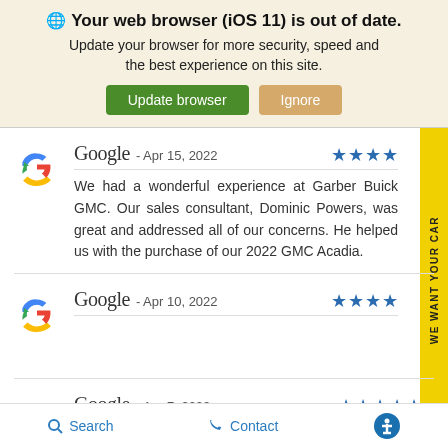🌐 Your web browser (iOS 11) is out of date. Update your browser for more security, speed and the best experience on this site. Update browser | Ignore
Google - Apr 15, 2022 ★★★★★ We had a wonderful experience at Garber Buick GMC. Our sales consultant, Dominic Powers, was great and addressed all of our concerns. He helped us with the purchase of our 2022 GMC Acadia.
Google - Apr 10, 2022 ★★★★
Google - Apr 7, 2022 ★★★★★
Search | Contact | Accessibility